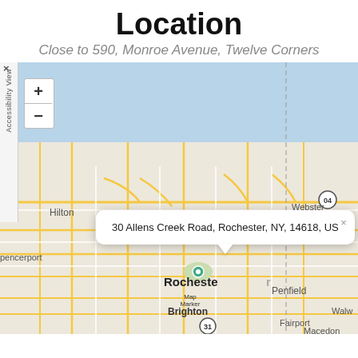Location
Close to 590, Monroe Avenue, Twelve Corners
[Figure (map): Interactive map showing Rochester, NY area with marker at 30 Allens Creek Road, Rochester, NY, 14618, US. Map shows Lake Ontario to the north, neighborhoods including Hilton, Greece, Irondequoit, Webster, Brighton, Penfield, Fairport visible. Map popup shows address: 30 Allens Creek Road, Rochester, NY, 14618, US.]
30 Allens Creek Road, Rochester, NY, 14618, US